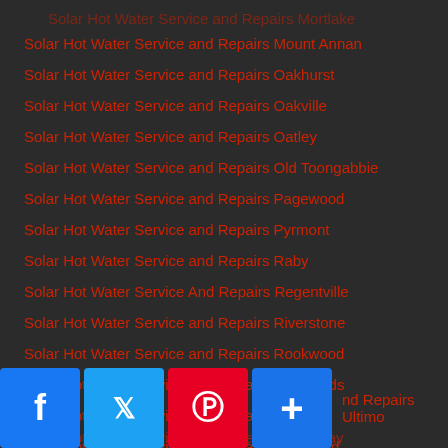Solar Hot Water Service and Repairs Mortlake
Solar Hot Water Service and Repairs Mount Annan
Solar Hot Water Service and Repairs Oakhurst
Solar Hot Water Service and Repairs Oakville
Solar Hot Water Service and Repairs Oatley
Solar Hot Water Service and Repairs Old Toongabbie
Solar Hot Water Service and Repairs Pagewood
Solar Hot Water Service and Repairs Pyrmont
Solar Hot Water Service and Repairs Raby
Solar Hot Water Service And Repairs Regentville
Solar Hot Water Service and Repairs Riverstone
Solar Hot Water Service and Repairs Rookwood
Solar Hot Water Service and Repairs Roselands
Solar Hot Water Service and Repairs Sefton
Solar Hot Water Service and Repairs Smithfield
Solar Hot Water Service and Repairs Summer Hill
Solar Hot Water Service and Repairs Telopea
Solar Hot Water Service and Repairs The Spit
Solar Hot Water Service and Repairs Ultimo
Solar Hot Water Service And Repairs Yowie Bay